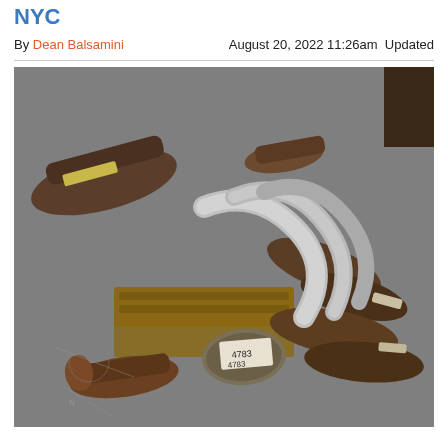NYC
By Dean Balsamini   August 20, 2022 11:26am  Updated
[Figure (photo): A pile of catalytic converters stacked on wooden pallets on a concrete floor, with metal pipes and exhaust components visible, some tagged with labels.]